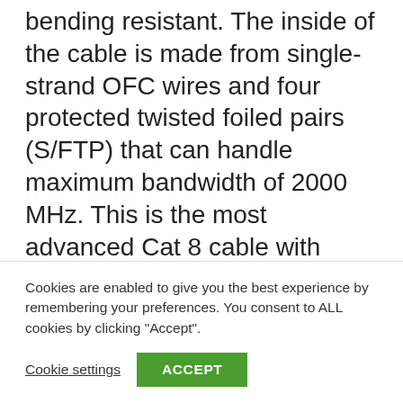bending resistant. The inside of the cable is made from single-strand OFC wires and four protected twisted foiled pairs (S/FTP) that can handle maximum bandwidth of 2000 MHz. This is the most advanced Cat 8 cable with 40Gbps or more data transfer speed. In addition, since the cable is quadruple shielded, the overall quality is very durable and robust.
The outer PVC jacket and the in...
Cookies are enabled to give you the best experience by remembering your preferences. You consent to ALL cookies by clicking "Accept".
Cookie settings
ACCEPT